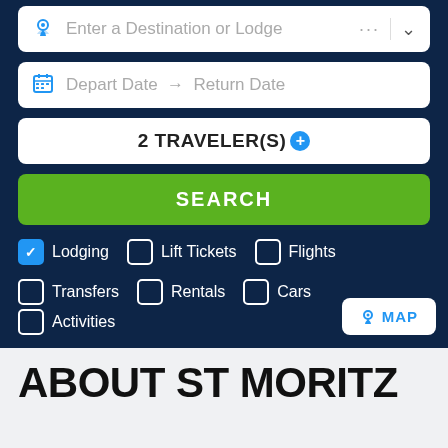[Figure (screenshot): Search form input field: Enter a Destination or Lodge with location pin icon, ellipsis and dropdown chevron]
[Figure (screenshot): Date input field: Depart Date → Return Date with calendar icon]
2 TRAVELER(S)
SEARCH
Lodging (checked), Lift Tickets (unchecked), Flights (unchecked)
Transfers (unchecked), Rentals (unchecked), Cars (unchecked), Activities (unchecked)
Ski School (unchecked)
MAP
ABOUT ST MORITZ